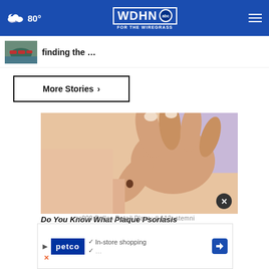80° WDHN abc FOR THE WIREGRASS
finding the …
More Stories ›
[Figure (photo): Close-up of a hand pointing at a mole on skin — a medical/psoriasis awareness image]
Do You Know What Plaque Psoriasis
[Figure (other): Petco advertisement banner with in-store shopping and directions icon. Background text: zz000 Dulles Retail Plaza; # 112; stemni]